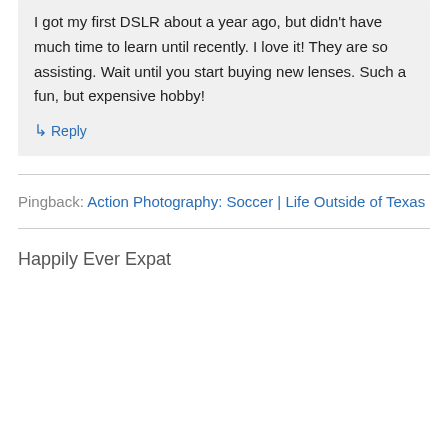I got my first DSLR about a year ago, but didn't have much time to learn until recently. I love it! They are so assisting. Wait until you start buying new lenses. Such a fun, but expensive hobby!
↳ Reply
Pingback: Action Photography: Soccer | Life Outside of Texas
Happily Ever Expat